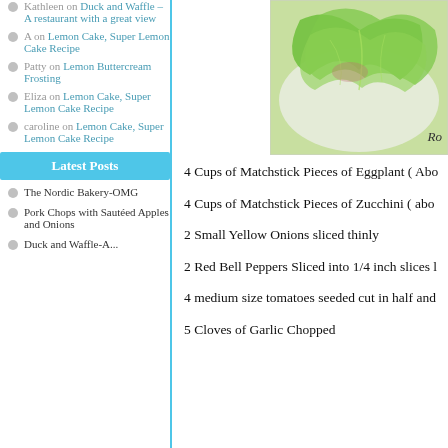Kathleen on Duck and Waffle – A restaurant with a great view
A on Lemon Cake, Super Lemon Cake Recipe
Patty on Lemon Buttercream Frosting
Eliza on Lemon Cake, Super Lemon Cake Recipe
caroline on Lemon Cake, Super Lemon Cake Recipe
Latest Posts
The Nordic Bakery-OMG
Pork Chops with Sautéed Apples and Onions
Duck and Waffle-A...
[Figure (photo): A plate with green leafy salad or lettuce wraps]
Ro
4 Cups of Matchstick Pieces of Eggplant ( Abo
4 Cups of Matchstick Pieces of Zucchini ( abo
2 Small Yellow Onions sliced thinly
2 Red Bell Peppers Sliced into 1/4 inch slices l
4 medium size tomatoes seeded cut in half and
5 Cloves of Garlic Chopped